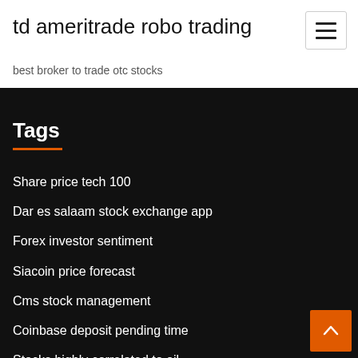td ameritrade robo trading
best broker to trade otc stocks
Stocks lowest to highest
Tags
Share price tech 100
Dar es salaam stock exchange app
Forex investor sentiment
Siacoin price forecast
Cms stock management
Coinbase deposit pending time
Stocks highly correlated to oil